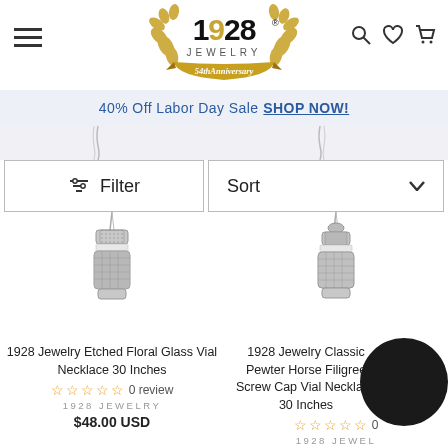[Figure (logo): 1928 Jewelry 54th Anniversary logo with gold laurel wreath and banner]
40% Off Labor Day Sale SHOP NOW!
Filter
Sort
[Figure (photo): 1928 Jewelry Etched Floral Glass Vial Necklace on chain - silver colored pendant]
1928 Jewelry Etched Floral Glass Vial Necklace 30 Inches
☆ ☆ ☆ ☆ ☆ 0 review
1928 JEWELRY
$48.00 USD
[Figure (photo): 1928 Jewelry Classic Pewter Horse Filigree Screw Cap Vial Necklace on chain - silver colored pendant]
1928 Jewelry Classic Pewter Horse Filigree Screw Cap Vial Necklace 30 Inches
☆ ☆ ☆ ☆ ☆ 0 review
1928 JEWELRY
$55.00 USD